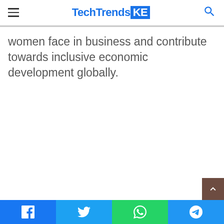TechTrendsKE
women face in business and contribute towards inclusive economic development globally.
Social share bar: Facebook, Twitter, WhatsApp, Telegram